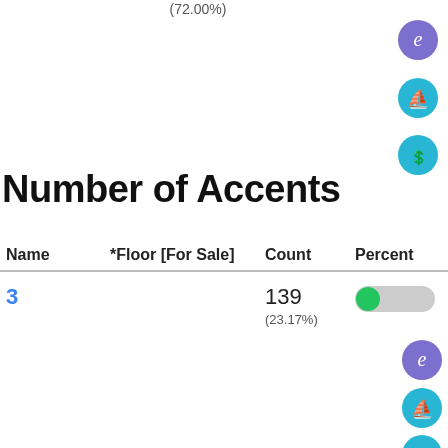(72.00%)
Number of Accents
| Name | *Floor [For Sale] | Count | Percent | Links |
| --- | --- | --- | --- | --- |
| 3 |  | 139
(23.17%) |  |  |